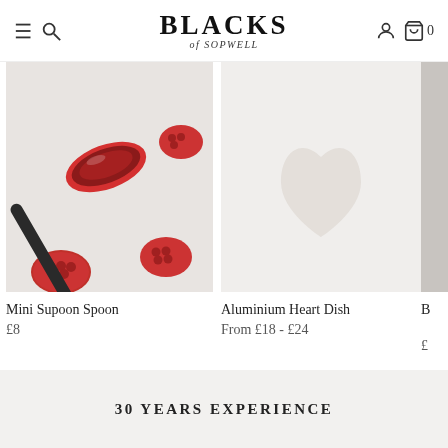BLACKS of SOPWELL
[Figure (photo): Red mini supoon spoon with raspberries on white background]
Mini Supoon Spoon
£8
[Figure (photo): Aluminium heart dish product image on light background]
Aluminium Heart Dish
From £18 - £24
30 YEARS EXPERIENCE